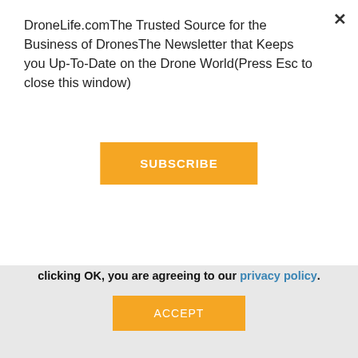DroneLife.comThe Trusted Source for the Business of DronesThe Newsletter that Keeps you Up-To-Date on the Drone World(Press Esc to close this window)
SUBSCRIBE
[Figure (photo): Dark green aerial view of trees/forest canopy strip]
AgEagle moves into a new and growing niche for commercial drones: the hemp industry. AgEagle partners with Florida officials to encourage growth of state's hemp industry By DRONELIFE Staff W… Read more »
This website uses cookies and third party services. By clicking OK, you are agreeing to our privacy policy.
ACCEPT